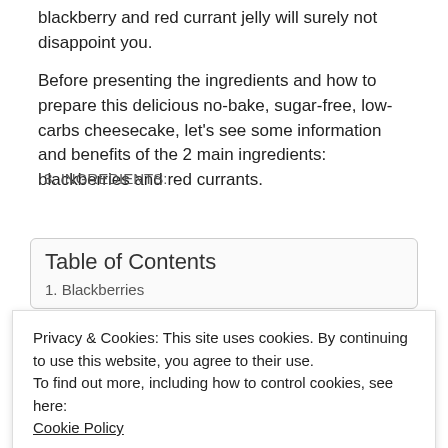blackberry and red currant jelly will surely not disappoint you.
Before presenting the ingredients and how to prepare this delicious no-bake, sugar-free, low-carbs cheesecake, let's see some information and benefits of the 2 main ingredients: blackberries and red currants.
Table of Contents
1. Blackberries
Privacy & Cookies: This site uses cookies. By continuing to use this website, you agree to their use.
To find out more, including how to control cookies, see here:
Cookie Policy
CLOSE AND ACCEPT
3. INGREDIENTS: